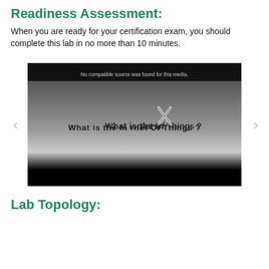Readiness Assessment:
When you are ready for your certification exam, you should complete this lab in no more than 10 minutes.
[Figure (screenshot): Video player screenshot showing a dark gradient background with the text 'What is the Internet Of Things?' with an X overlay icon in the middle, and an error message 'No compatible source was found for this media.' at the top. Navigation arrows appear on either side. A black control bar is at the bottom.]
Lab Topology: